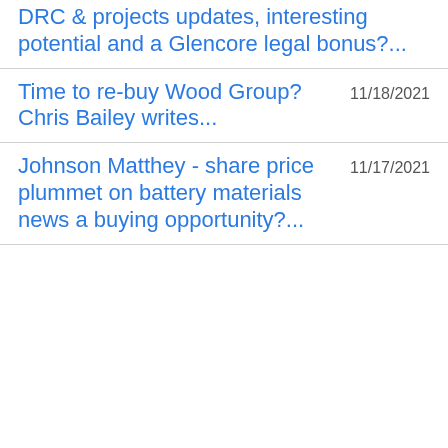DRC & projects updates, interesting potential and a Glencore legal bonus?...
Time to re-buy Wood Group? Chris Bailey writes...
11/18/2021
Johnson Matthey - share price plummet on battery materials news a buying opportunity?...
11/17/2021